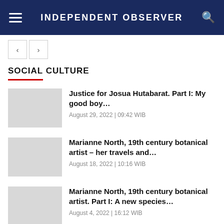INDEPENDENT OBSERVER
SOCIAL CULTURE
Justice for Josua Hutabarat. Part I: My good boy…
August 29, 2022 | 09:42 WIB
Marianne North, 19th century botanical artist – her travels and…
August 18, 2022 | 10:16 WIB
Marianne North, 19th century botanical artist. Part I: A new species…
August 4, 2022 | 16:12 WIB